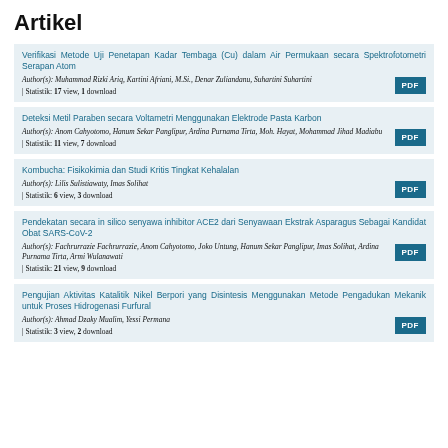Artikel
Verifikasi Metode Uji Penetapan Kadar Tembaga (Cu) dalam Air Permukaan secara Spektrofotometri Serapan Atom
Author(s): Muhammad Rizki Ariq, Kartini Afriani, M.Si., Denar Zuliandanu, Suhartini Suhartini
| Statistik: 17 view, 1 download
Deteksi Metil Paraben secara Voltametri Menggunakan Elektrode Pasta Karbon
Author(s): Anom Cahyotomo, Hanum Sekar Panglipur, Ardina Purnama Tirta, Moh. Hayat, Mohammad Jihad Madiabu
| Statistik: 11 view, 7 download
Kombucha: Fisikokimia dan Studi Kritis Tingkat Kehalalan
Author(s): Lilis Sulistiawaty, Imas Solihat
| Statistik: 6 view, 3 download
Pendekatan secara in silico senyawa inhibitor ACE2 dari Senyawaan Ekstrak Asparagus Sebagai Kandidat Obat SARS-CoV-2
Author(s): Fachrurrazie Fachrurrazie, Anom Cahyotomo, Joko Untung, Hanum Sekar Panglipur, Imas Solihat, Ardina Purnama Tirta, Armi Wulanawati
| Statistik: 21 view, 9 download
Pengujian Aktivitas Katalitik Nikel Berpori yang Disintesis Menggunakan Metode Pengadukan Mekanik untuk Proses Hidrogenasi Furfural
Author(s): Ahmad Dzaky Mualim, Yessi Permana
| Statistik: 3 view, 2 download